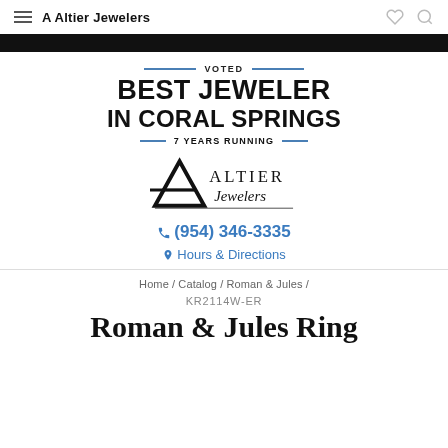A Altier Jewelers
[Figure (logo): Altier Jewelers logo with stylized A and script text]
VOTED BEST JEWELER IN CORAL SPRINGS 7 YEARS RUNNING
📞 (954) 346-3335
📍 Hours & Directions
Home / Catalog / Roman & Jules /
KR2114W-ER
Roman & Jules Ring